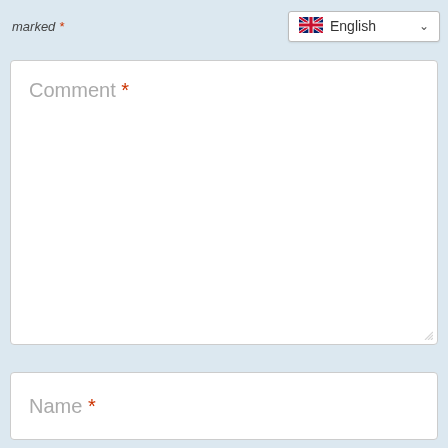marked *
[Figure (screenshot): Language selector dropdown showing UK flag and 'English' with chevron]
[Figure (screenshot): Comment text area input field with placeholder text 'Comment *']
[Figure (screenshot): Name text input field with placeholder text 'Name *']